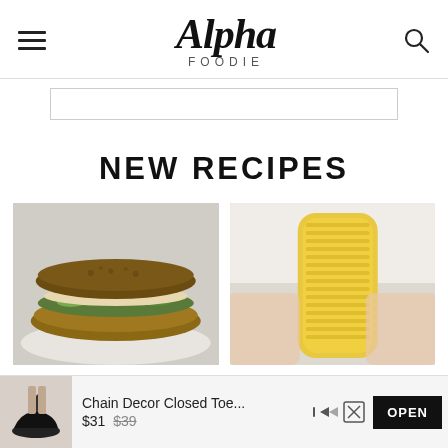Alpha Foodie
NEW RECIPES
[Figure (photo): Close-up photo of a sandwich on whole grain bread with greens and filling, on a white plate]
[Figure (photo): Close-up photo of a golden corn on the cob being held by hands]
Chain Decor Closed Toe... $31 $39 OPEN